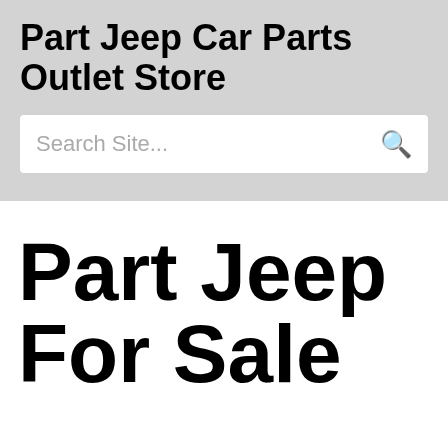Part Jeep Car Parts Outlet Store
Search Site...
Part Jeep For Sale